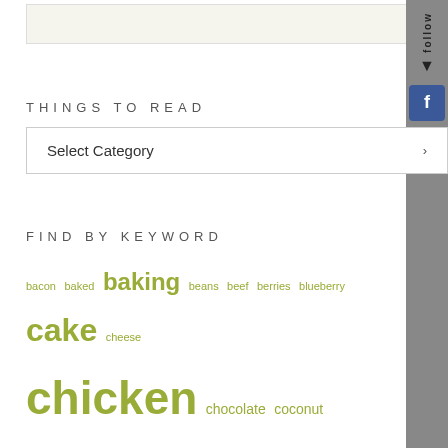[Figure (screenshot): Top banner/header area with light beige background and border]
THINGS TO READ
Select Category
FIND BY KEYWORD
bacon baked baking beans beef berries blueberry cake cheese chicken chocolate coconut cooking curry dessert DIY dried beans easy fish food fruit GF ghee gluten free gourmet homemade lamb maple syrup meat microwave